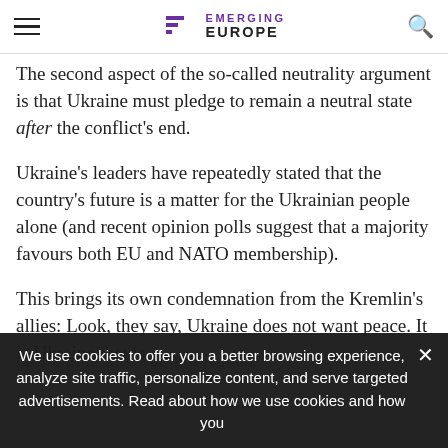EMERGING EUROPE
The second aspect of the so-called neutrality argument is that Ukraine must pledge to remain a neutral state after the conflict's end.
Ukraine's leaders have repeatedly stated that the country's future is a matter for the Ukrainian people alone (and recent opinion polls suggest that a majority favours both EU and NATO membership).
This brings its own condemnation from the Kremlin's allies: Look, they say, Ukraine does not want peace. It is Ukraine that is prolonging this war, not Russia.
We use cookies to offer you a better browsing experience, analyze site traffic, personalize content, and serve targeted advertisements. Read about how we use cookies and how you